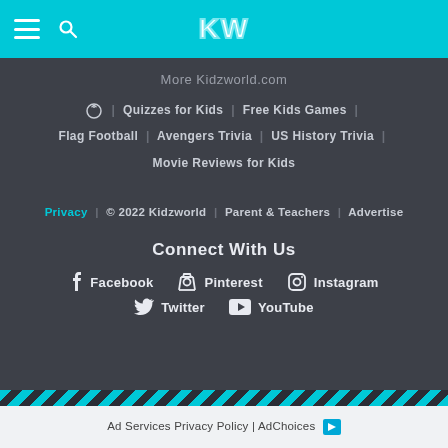KW
More Kidzworld.com
Quizzes for Kids | Free Kids Games | Flag Football | Avengers Trivia | US History Trivia | Movie Reviews for Kids
Privacy | © 2022 Kidzworld | Parent & Teachers | Advertise
Connect With Us
Facebook  Pinterest  Instagram  Twitter  YouTube
Ad Services Privacy Policy | AdChoices